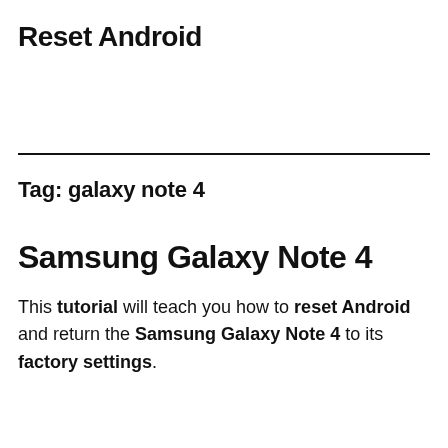Reset Android
Tag: galaxy note 4
Samsung Galaxy Note 4
This tutorial will teach you how to reset Android and return the Samsung Galaxy Note 4 to its factory settings.